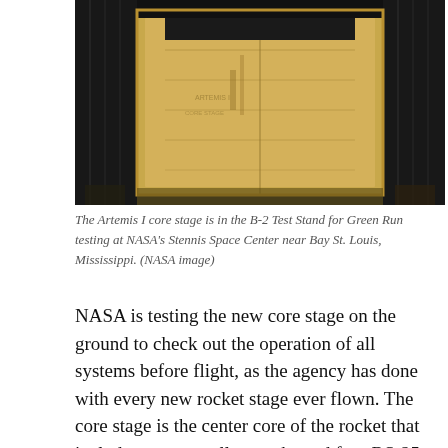[Figure (photo): Aerial or overhead view of the Artemis I core stage inside the B-2 Test Stand at NASA's Stennis Space Center. The image shows a large rectangular yellow/tan structure surrounded by dark metallic framework, viewed from above.]
The Artemis I core stage is in the B-2 Test Stand for Green Run testing at NASA's Stennis Space Center near Bay St. Louis, Mississippi. (NASA image)
NASA is testing the new core stage on the ground to check out the operation of all systems before flight, as the agency has done with every new rocket stage ever flown. The core stage is the center core of the rocket that includes two propellant tanks and four RS-25 engines, miles of add-on, all the avionics,